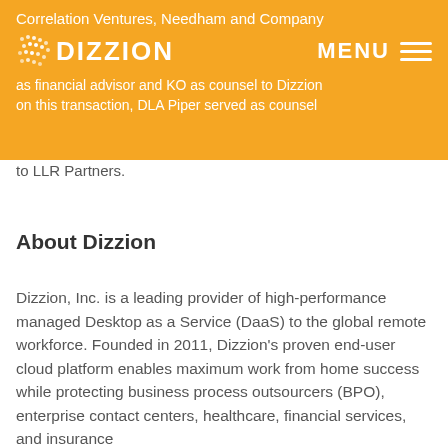Correlation Ventures, Needham and Company as financial advisor and KO as counsel to Dizzion on this transaction, DLA Piper served as counsel to LLR Partners.
to LLR Partners.
About Dizzion
Dizzion, Inc. is a leading provider of high-performance managed Desktop as a Service (DaaS) to the global remote workforce. Founded in 2011, Dizzion's proven end-user cloud platform enables maximum work from home success while protecting business process outsourcers (BPO), enterprise contact centers, healthcare, financial services, and insurance